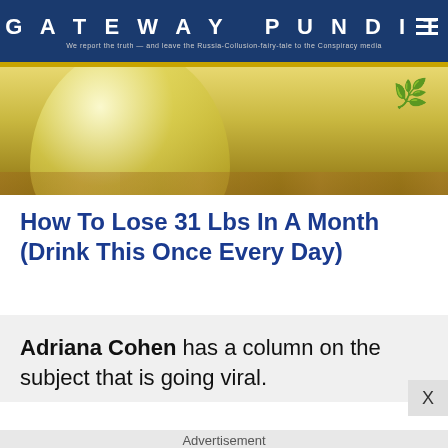GATEWAY PUNDIT — We report the truth — and leave the Russia-Collusion-fairy-tale to the Conspiracy media
[Figure (photo): Hero image of a yellow-green drink in a glass bowl on a wooden surface with a plant in the background]
How To Lose 31 Lbs In A Month (Drink This Once Every Day)
Adriana Cohen has a column on the subject that is going viral.
Advertisement